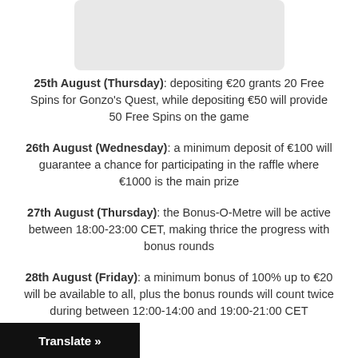[Figure (other): Placeholder image box with light gray background]
25th August (Thursday): depositing €20 grants 20 Free Spins for Gonzo's Quest, while depositing €50 will provide 50 Free Spins on the game
26th August (Wednesday): a minimum deposit of €100 will guarantee a chance for participating in the raffle where €1000 is the main prize
27th August (Thursday): the Bonus-O-Metre will be active between 18:00-23:00 CET, making thrice the progress with bonus rounds
28th August (Friday): a minimum bonus of 100% up to €20 will be available to all, plus the bonus rounds will count twice during between 12:00-14:00 and 19:00-21:00 CET
Translate »